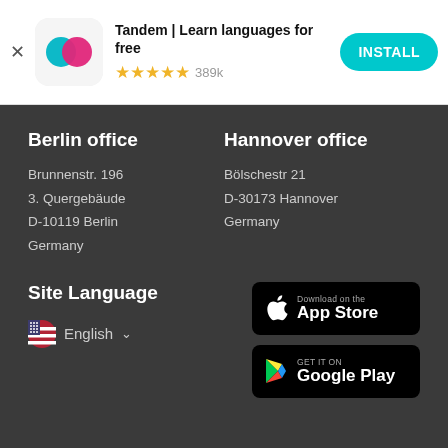[Figure (screenshot): App install banner for Tandem | Learn languages for free with 4.5 star rating and 389k reviews, with INSTALL button]
Berlin office
Brunnenstr. 196
3. Quergebäude
D-10119 Berlin
Germany
Hannover office
Bölschestr 21
D-30173 Hannover
Germany
Site Language
English
[Figure (screenshot): Download on the App Store button]
[Figure (screenshot): Get it on Google Play button]